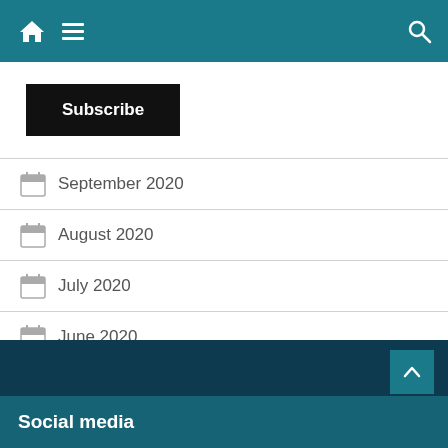Navigation bar with home, menu, and search icons
Subscribe
September 2020
August 2020
July 2020
June 2020
May 2020
Social media